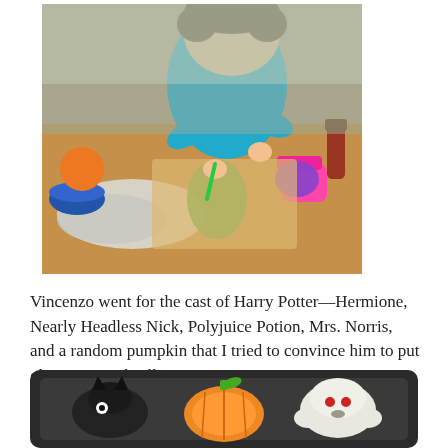[Figure (photo): A boy in a blue shirt decorating cookies with colored frosting at a table covered with foil, bowls of frosting, and decorating supplies.]
Vincenzo went for the cast of Harry Potter—Hermione, Nearly Headless Nick, Polyjuice Potion, Mrs. Norris, and a random pumpkin that I tried to convince him to put glasses on and call “Harry Potter.”
[Figure (photo): A baking tray with decorated cookies shaped like a black cat, a pumpkin, and a ghost with red candy eyes.]